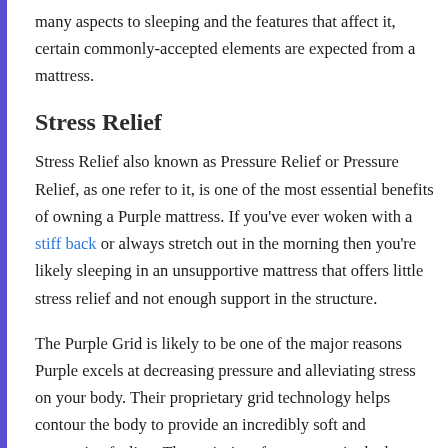many aspects to sleeping and the features that affect it, certain commonly-accepted elements are expected from a mattress.
Stress Relief
Stress Relief also known as Pressure Relief or Pressure Relief, as one refer to it, is one of the most essential benefits of owning a Purple mattress. If you've ever woken with a stiff back or always stretch out in the morning then you're likely sleeping in an unsupportive mattress that offers little stress relief and not enough support in the structure.
The Purple Grid is likely to be one of the major reasons Purple excels at decreasing pressure and alleviating stress on your body. Their proprietary grid technology helps contour the body to provide an incredibly soft and supportive feeling. The majority of mattresses in the lower end have the issue of sleepers sinking too deeply into the mattress. With the